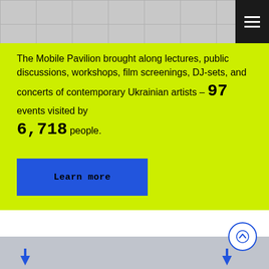[Figure (photo): Aerial or ground-level view of a paved plaza or courtyard with geometric lines, grey tones]
The Mobile Pavilion brought along lectures, public discussions, workshops, film screenings, DJ-sets, and concerts of contemporary Ukrainian artists – 97 events visited by 6,718 people.
[Figure (other): Blue 'Learn more' button]
[Figure (other): Grey map section with location markers and a scroll-to-top arrow button]